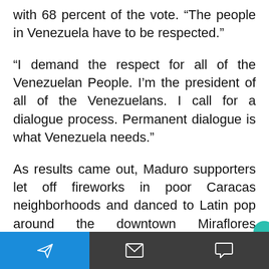with 68 percent of the vote. “The people in Venezuela have to be respected.”
“I demand the respect for all of the Venezuelan People. I’m the president of all of the Venezuelans. I call for a dialogue process. Permanent dialogue is what Venezuela needs.”
As results came out, Maduro supporters let off fireworks in poor Caracas neighborhoods and danced to Latin pop around the downtown Miraflores presidential palace. He
Navigation bar with share, mail, and comment icons